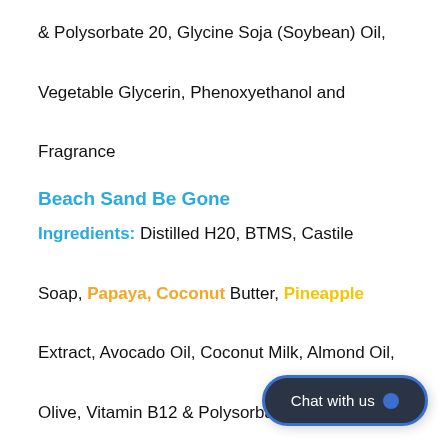& Polysorbate 20, Glycine Soja (Soybean) Oil, Vegetable Glycerin, Phenoxyethanol and Fragrance
Beach Sand Be Gone
Ingredients: Distilled H20, BTMS, Castile Soap, Papaya, Coconut Butter, Pineapple Extract, Avocado Oil, Coconut Milk, Almond Oil, Olive, Vitamin B12 & Polysorbate 80, Phenoxyethanol and Fragrance